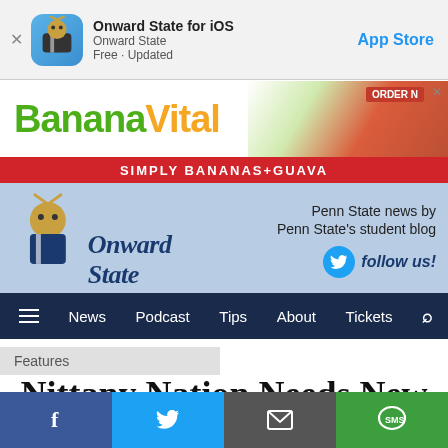[Figure (screenshot): iOS App Store banner for Onward State app showing app icon, name, and App Store button]
[Figure (photo): Banana Vital advertisement banner reading 'Banana Vital - Simply Bananas+Guava' with fruit imagery]
[Figure (screenshot): Onward State website header with mascot logo, Penn State news tagline, and Twitter follow button]
[Figure (screenshot): Navigation bar with hamburger menu, News, Podcast, Tips, About, Tickets, and search icon]
Features
Nittany Nation Needs New Threads
[Figure (screenshot): Social sharing bar with Facebook, Twitter, email, and SMS buttons]